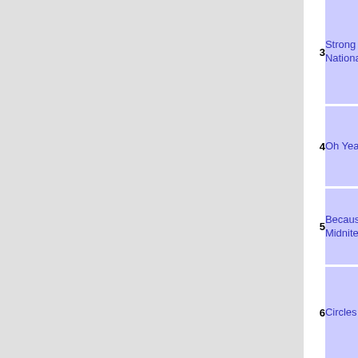| # | Song | # | Song | # | Song |
| --- | --- | --- | --- | --- | --- |
| 3 | Strong Badia National Anthem | 10 | I Think I Have a Chance With This Guy | 17 | The Theme from Dangeresque II (karaoke) |
| 4 | Oh Yeah Yeah | 11 | It's Like It Was Meant to Be (video) | 18 | Somebody Told Me (Now I Believe Them) |
| 5 | Because, It's Midnite (karaoke) | 12 | Nite Mamas (karaoke) | 19 | The Cheat Is Not Dead |
| 6 | Circles | 13 | Sensitive to Bees | 20 | Everybody to the Limit (Live) (karaoke) |
| 7 | Let's Get Started on Doing All Those Awesome Things I | 14 | You've Got an Ugly & Stupid Butt | * | Secret Song (video) |